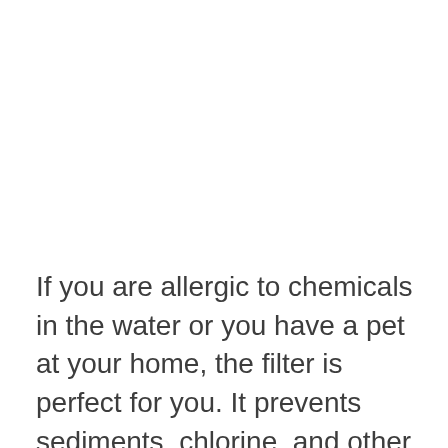If you are allergic to chemicals in the water or you have a pet at your home, the filter is perfect for you. It prevents sediments, chlorine, and other metals from pouring down through the water. Skin irritation is a